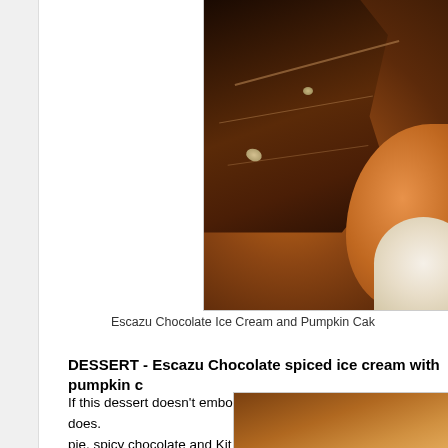[Figure (photo): Close-up photo of dark chocolate ice cream with nuts and pumpkin cake]
Escazu Chocolate Ice Cream and Pumpkin Cak
DESSERT - Escazu Chocolate spiced ice cream with pumpkin c
If this dessert doesn't embody the Fall, then I don't know what does. pie, spicy chocolate and Kit Kat all in one! Dessert heaven! Artisan c next door to Stanbury, so I have a feeling they always have good c
[Figure (photo): Bottom partial photo of food item]